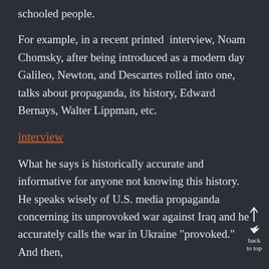schooled people.
For example, in a recent printed interview, Noam Chomsky, after being introduced as a modern day Galileo, Newton, and Descartes rolled into one, talks about propaganda, its history, Edward Bernays, Walter Lippman, etc.
interview
What he says is historically accurate and informative for anyone not knowing this history.  He speaks wisely of U.S. media propaganda concerning its unprovoked war against Iraq and he accurately calls the war in Ukraine "provoked."  And then,